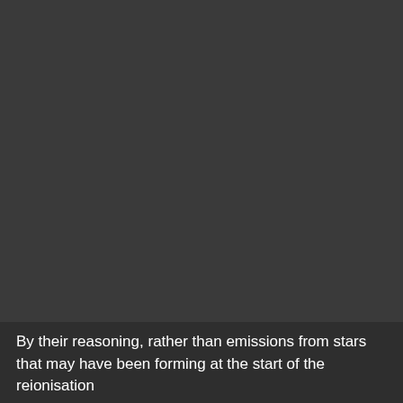[Figure (photo): Dark astronomical image, largely featureless dark gray/black background, likely a deep space or night sky photograph.]
By their reasoning, rather than emissions from stars that may have been forming at the start of the reionisation